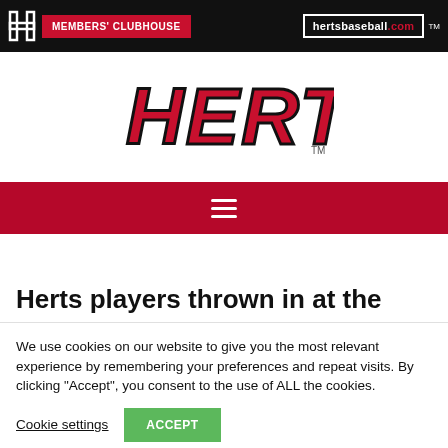MEMBERS' CLUBHOUSE | hertsbaseball.com TM
[Figure (logo): HERTS baseball club logo in large red lettering with TM mark]
[Figure (other): Red navigation bar with hamburger menu icon (three white horizontal lines)]
Herts players thrown in at the
We use cookies on our website to give you the most relevant experience by remembering your preferences and repeat visits. By clicking “Accept”, you consent to the use of ALL the cookies.
Cookie settings | ACCEPT